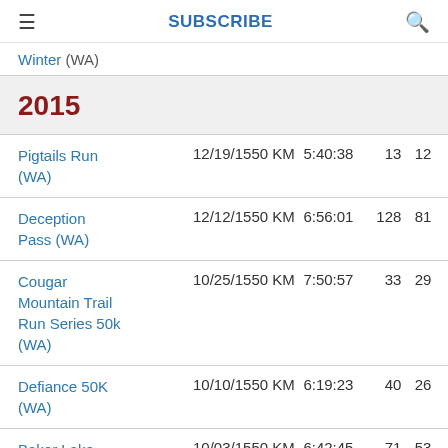SUBSCRIBE
Winter (WA)
2015
| Race | Date | Distance | Time | Overall | Gender |
| --- | --- | --- | --- | --- | --- |
| Pigtails Run (WA) | 12/19/15 | 50 KM | 5:40:38 | 13 | 12 |
| Deception Pass (WA) | 12/12/15 | 50 KM | 6:56:01 | 128 | 81 |
| Cougar Mountain Trail Run Series 50k (WA) | 10/25/15 | 50 KM | 7:50:57 | 33 | 29 |
| Defiance 50K (WA) | 10/10/15 | 50 KM | 6:19:23 | 40 | 26 |
| Baker Lake Ultra Trail | 10/03/15 | 50 KM | 6:42:45 | 71 | 53 |